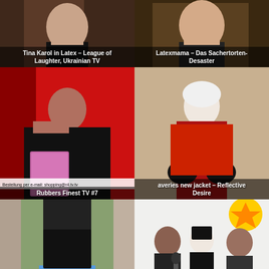[Figure (photo): Tina Karol in a latex outfit on Ukrainian TV stage]
Tina Karol in Latex – League of Laughter, Ukrainian TV
[Figure (photo): Latexmama in latex outfit – Das Sachertorten-Desaster]
Latexmama – Das Sachertorten-Desaster
[Figure (photo): Person in black latex outfit at Rubbers Finest TV #7 show]
Rubbers Finest TV #7
[Figure (photo): Woman in red latex jacket crouching – Reflective Desire]
averies new jacket – Reflective Desire
[Figure (photo): Person in black latex corset and blue shorts outdoors – Marilyn Yusuf Part 87]
Marilyn Yusuf Part 87 – Latex
[Figure (photo): Irina Rimes in latex maid dress at TV event]
Irina Rimes Latex Maid Dress –